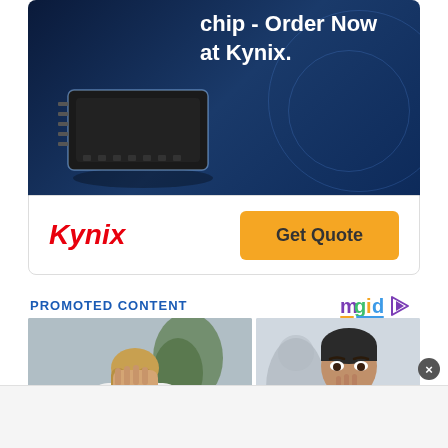[Figure (illustration): Kynix integrated circuit chip advertisement banner with dark blue background showing a black IC chip device and text 'chip - Order Now at Kynix.' with Kynix logo and Get Quote button]
PROMOTED CONTENT
[Figure (illustration): mgid logo with stylized colorful letters and play button icon]
[Figure (photo): Two promotional content photos side by side: left shows a woman with hand over face wearing red and white clothing with a plant in background; right shows a man with hand to chin looking concerned in business setting]